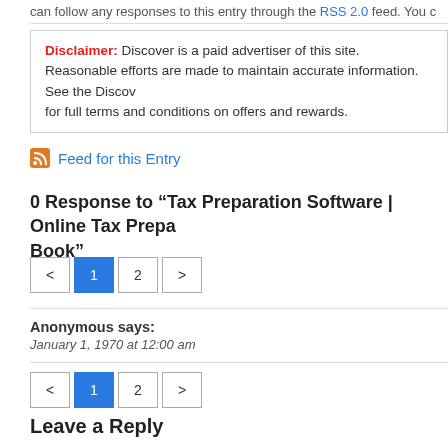can follow any responses to this entry through the RSS 2.0 feed. You c
Disclaimer: Discover is a paid advertiser of this site. Reasonable efforts are made to maintain accurate information. See the Discover website for full terms and conditions on offers and rewards.
Feed for this Entry
0 Response to “Tax Preparation Software | Online Tax Preparation Book”
< 1 2 >
Anonymous says: January 1, 1970 at 12:00 am
< 1 2 >
Leave a Reply
Name (required)